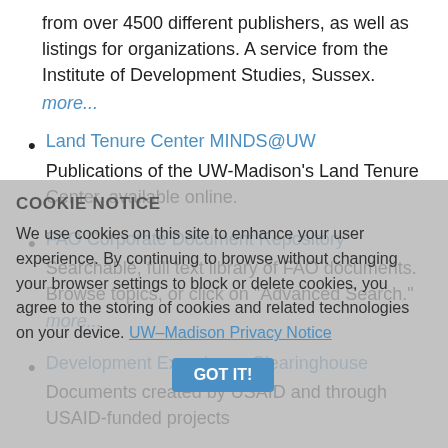from over 4500 different publishers, as well as listings for organizations. A service from the Institute of Development Studies, Sussex.
more...
Land Tenure Center MINDS@UW
Publications of the UW-Madison's Land Tenure Center, available online.
FAO Corporate Document Repository
Searchable, full text library of FAO documents. Browse topics, or click on "Advanced Search."
more...
Development Experience Clearinghouse
Documents created by USAID and through USAID-funded projects
Working Papers (at Steenbock)
Most working papers collected by the Land Tenure Center Library (1962-1996) are now housed at Steenbock Library in 3rd floor Files